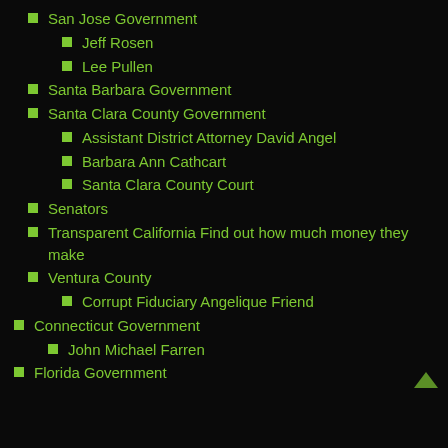San Jose Government
Jeff Rosen
Lee Pullen
Santa Barbara Government
Santa Clara County Government
Assistant District Attorney David Angel
Barbara Ann Cathcart
Santa Clara County Court
Senators
Transparent California Find out how much money they make
Ventura County
Corrupt Fiduciary Angelique Friend
Connecticut Government
John Michael Farren
Florida Government